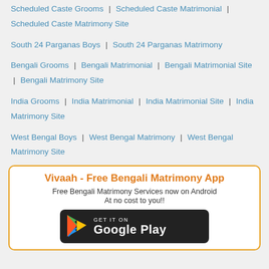Scheduled Caste Grooms | Scheduled Caste Matrimonial | Scheduled Caste Matrimony Site
South 24 Parganas Boys | South 24 Parganas Matrimony
Bengali Grooms | Bengali Matrimonial | Bengali Matrimonial Site | Bengali Matrimony Site
India Grooms | India Matrimonial | India Matrimonial Site | India Matrimony Site
West Bengal Boys | West Bengal Matrimony | West Bengal Matrimony Site
[Figure (infographic): Vivaah - Free Bengali Matrimony App promotional box with orange border. Contains title 'Vivaah - Free Bengali Matrimony App' in orange, subtitle text 'Free Bengali Matrimony Services now on Android' and 'At no cost to you!!', and a Google Play Store download button in dark background.]